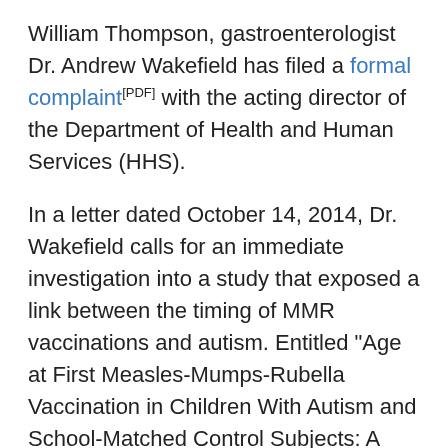William Thompson, gastroenterologist Dr. Andrew Wakefield has filed a formal complaint[PDF] with the acting director of the Department of Health and Human Services (HHS).
In a letter dated October 14, 2014, Dr. Wakefield calls for an immediate investigation into a study that exposed a link between the timing of MMR vaccinations and autism. Entitled "Age at First Measles-Mumps-Rubella Vaccination in Children With Autism and School-Matched Control Subjects: A Population-Based Study in Metropolitan Atlanta," the study was published in a deliberately misleading way so as to make the MMR vaccine appear safe.
But it actually isn't, says Dr. Thompson, the CDC epidemiologist and statistician who recently confessed to aiding the enemy in publishing false data about the vaccine